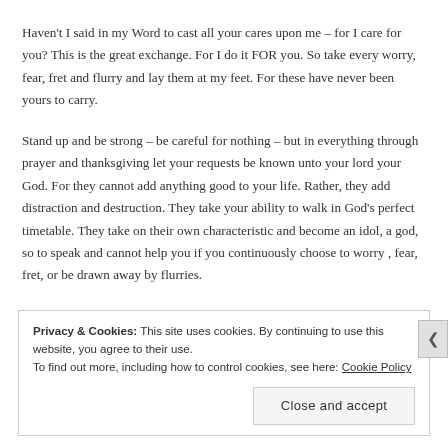Haven't I said in my Word to cast all your cares upon me – for I care for you? This is the great exchange. For I do it FOR you. So take every worry, fear, fret and flurry and lay them at my feet. For these have never been yours to carry.
Stand up and be strong – be careful for nothing – but in everything through prayer and thanksgiving let your requests be known unto your lord your God. For they cannot add anything good to your life. Rather, they add distraction and destruction. They take your ability to walk in God's perfect timetable. They take on their own characteristic and become an idol, a god, so to speak and cannot help you if you continuously choose to worry , fear, fret, or be drawn away by flurries.
Privacy & Cookies: This site uses cookies. By continuing to use this website, you agree to their use. To find out more, including how to control cookies, see here: Cookie Policy